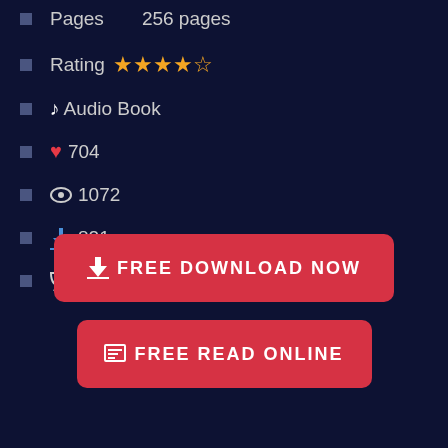Pages    256 pages
Rating ★★★★½
♪ Audio Book
❤ 704
👁 1072
⬇ 821
💬 508
FREE DOWNLOAD NOW
FREE READ ONLINE